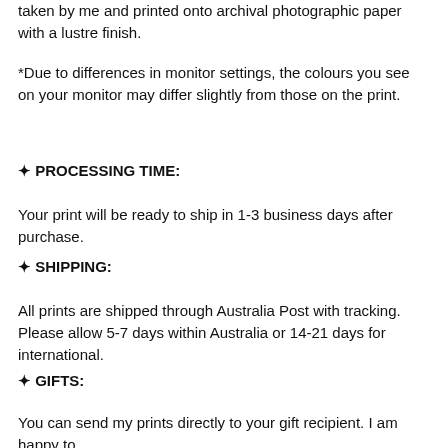taken by me and printed onto archival photographic paper with a lustre finish.
*Due to differences in monitor settings, the colours you see on your monitor may differ slightly from those on the print.
✦ PROCESSING TIME:
Your print will be ready to ship in 1-3 business days after purchase.
✦ SHIPPING:
All prints are shipped through Australia Post with tracking. Please allow 5-7 days within Australia or 14-21 days for international.
✦ GIFTS:
You can send my prints directly to your gift recipient. I am happy to